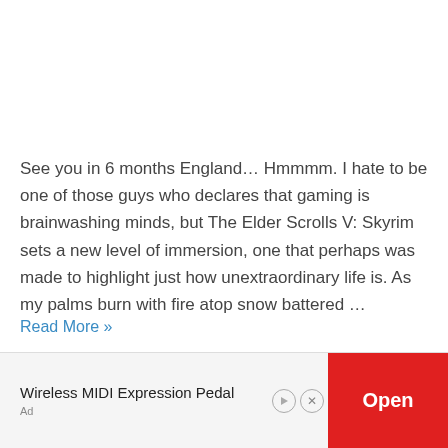See you in 6 months England… Hmmmm. I hate to be one of those guys who declares that gaming is brainwashing minds, but The Elder Scrolls V: Skyrim sets a new level of immersion, one that perhaps was made to highlight just how unextraordinary life is. As my palms burn with fire atop snow battered …
Read More »
[Figure (photo): Dark green outdoor/nature image strip]
Wireless MIDI Expression Pedal
Ad
Open